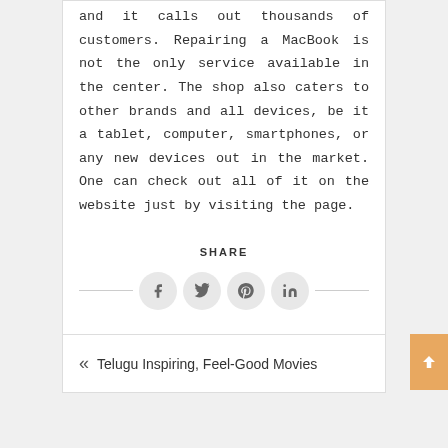and it calls out thousands of customers. Repairing a MacBook is not the only service available in the center. The shop also caters to other brands and all devices, be it a tablet, computer, smartphones, or any new devices out in the market. One can check out all of it on the website just by visiting the page.
SHARE
[Figure (other): Social share icons: Facebook, Twitter, Pinterest, LinkedIn in circular buttons with horizontal lines on sides]
« Telugu Inspiring, Feel-Good Movies